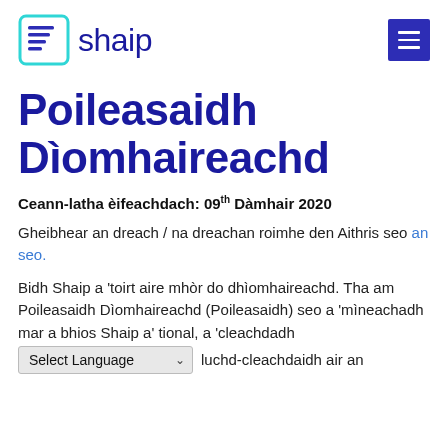shaip
Poileasaidh Dìomhaireachd
Ceann-latha èifeachdach: 09th Dàmhair 2020
Gheibhear an dreach / na dreachan roimhe den Aithris seo an seo.
Bidh Shaip a 'toirt aire mhòr do dhìomhaireachd. Tha am Poileasaidh Dìomhaireachd (Poileasaidh) seo a 'mìneachadh mar a bhios Shaip a' tional, a 'cleachdadh agus a 'roinn fiosrachaon luchd-cleachdaidh air an